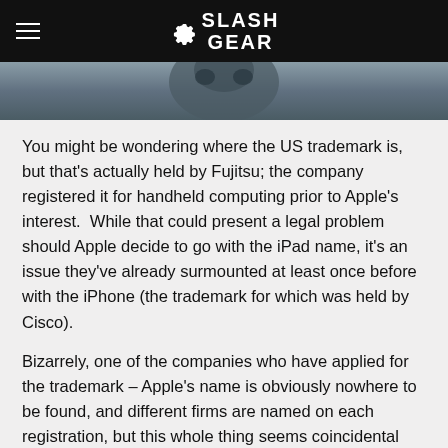SlashGear
[Figure (photo): Partial photo of a dark subject, appears to be an ape or gorilla in a moody, dark-toned image]
You might be wondering where the US trademark is, but that's actually held by Fujitsu; the company registered it for handheld computing prior to Apple's interest.  While that could present a legal problem should Apple decide to go with the iPad name, it's an issue they've already surmounted at least once before with the iPhone (the trademark for which was held by Cisco).
Bizarrely, one of the companies who have applied for the trademark – Apple's name is obviously nowhere to be found, and different firms are named on each registration, but this whole thing seems coincidental with the upcoming launch – has a name the initials of